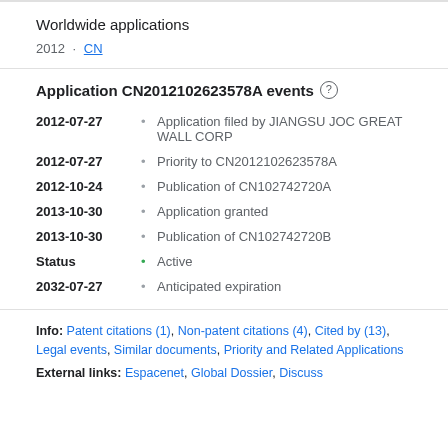Worldwide applications
2012 · CN
Application CN2012102623578A events
2012-07-27 • Application filed by JIANGSU JOC GREAT WALL CORP
2012-07-27 • Priority to CN2012102623578A
2012-10-24 • Publication of CN102742720A
2013-10-30 • Application granted
2013-10-30 • Publication of CN102742720B
Status • Active
2032-07-27 • Anticipated expiration
Info: Patent citations (1), Non-patent citations (4), Cited by (13), Legal events, Similar documents, Priority and Related Applications
External links: Espacenet, Global Dossier, Discuss